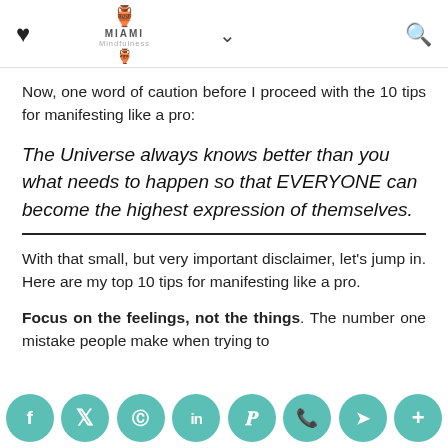♥  MIAMI [logo]  ∨  🔍
Now, one word of caution before I proceed with the 10 tips for manifesting like a pro:
The Universe always knows better than you what needs to happen so that EVERYONE can become the highest expression of themselves.
With that small, but very important disclaimer, let's jump in. Here are my top 10 tips for manifesting like a pro.
Focus on the feelings, not the things. The number one mistake people make when trying to manifest is they concentrate their attention fo...
[Figure (infographic): Social sharing bar with teal rounded buttons: f (Facebook), bird (Twitter), alien (Reddit), in (LinkedIn), P (Pinterest), phone (WhatsApp), telegram arrow, plus sign]